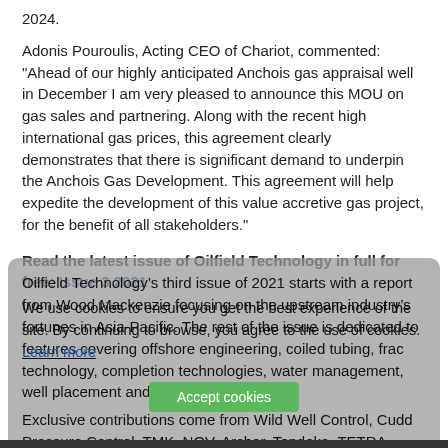2024.
Adonis Pouroulis, Acting CEO of Chariot, commented: "Ahead of our highly anticipated Anchois gas appraisal well in December I am very pleased to announce this MOU on gas sales and partnering. Along with the recent high international gas prices, this agreement clearly demonstrates that there is significant demand to underpin the Anchois Gas Development. This agreement will help expedite the development of this value accretive gas project, for the benefit of all stakeholders."
Read the latest issue of Oilfield Technology in full for free: Issue 3 2021
Oilfield Technology’s third issue of 2021 starts with a report from Wood Mackenzie focusing on the upstream industry’s fortunes in Asia-Pacific. The rest of the issue is dedicated to features covering offshore engineering, coiled tubing, frac technology, completion technologies, water management, well placement and much more.
Exclusive contributions come from Wild Well Control, Cudd Pressure Control, TMK, NOV, Archer, Tendeka, TETRA Technologies and more.
We use cookies to ensure you get the best experience of the site. By continuing to browse, you agree to the use of cookies. Learn more
Accept cookies